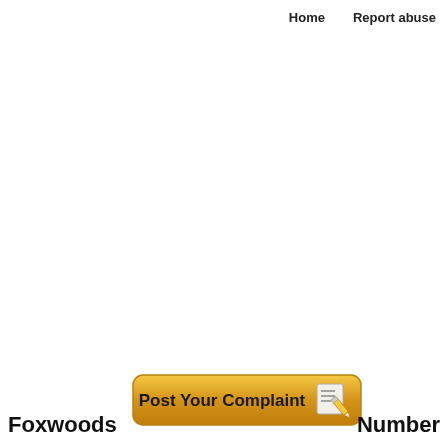Home    Report abuse
[Figure (illustration): Golden gradient button with text 'Post Your Complaint' and a notepad/pencil icon on the right side]
Foxwoods
Number